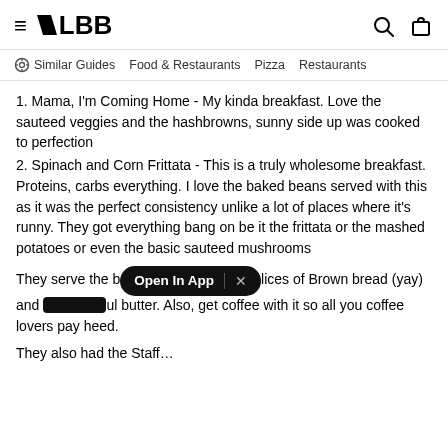≡ LBB [search icon] [bag icon]
Similar Guides   Food & Restaurants   Pizza   Restaurants
1. Mama, I'm Coming Home - My kinda breakfast. Love the sauteed veggies and the hashbrowns, sunny side up was cooked to perfection
2. Spinach and Corn Frittata - This is a truly wholesome breakfast. Proteins, carbs everything. I love the baked beans served with this as it was the perfect consistency unlike a lot of places where it's runny. They got everything bang on be it the frittata or the mashed potatoes or even the basic sauteed mushrooms
They serve the b[Open In App ×]lices of Brown bread (yay) and [obscured]ul butter. Also, get coffee with it so all you coffee lovers pay heed.
They also had the Staff…